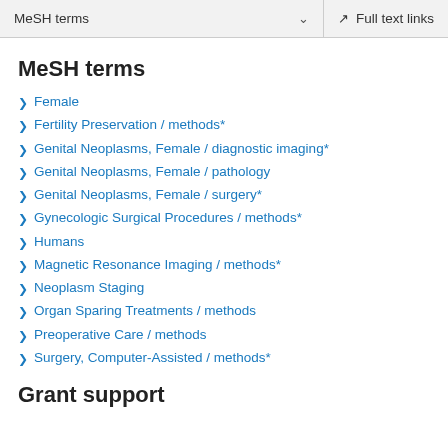MeSH terms  ∨    Full text links
MeSH terms
Female
Fertility Preservation / methods*
Genital Neoplasms, Female / diagnostic imaging*
Genital Neoplasms, Female / pathology
Genital Neoplasms, Female / surgery*
Gynecologic Surgical Procedures / methods*
Humans
Magnetic Resonance Imaging / methods*
Neoplasm Staging
Organ Sparing Treatments / methods
Preoperative Care / methods
Surgery, Computer-Assisted / methods*
Grant support